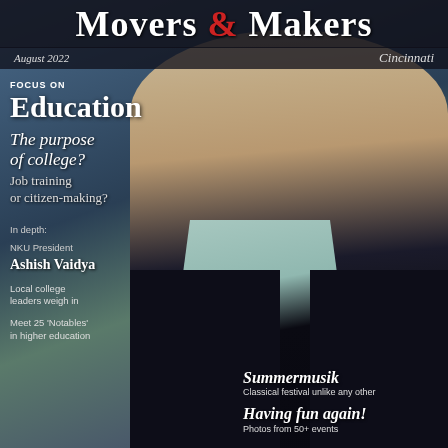Movers & Makers
August 2022   Cincinnati
[Figure (photo): Professional headshot of Ashish Vaidya, NKU President, wearing a dark suit, light blue shirt, and grey tie, against a blurred indoor background]
FOCUS ON
Education
The purpose of college?
Job training or citizen-making?
In depth:
NKU President
Ashish Vaidya
Local college leaders weigh in
Meet 25 'Notables' in higher education
Summermusik
Classical festival unlike any other
Having fun again!
Photos from 50+ events